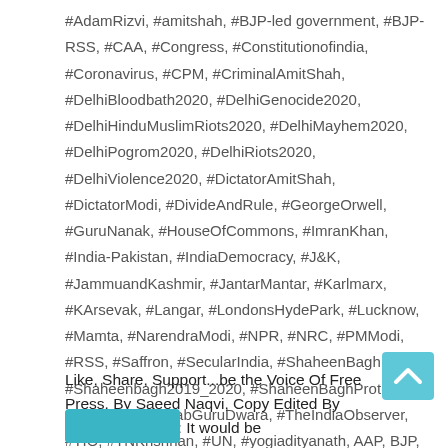#AdamRizvi, #amitshah, #BJP-led government, #BJP-RSS, #CAA, #Congress, #Constitutionofindia, #Coronavirus, #CPM, #CriminalAmitShah, #DelhiBloodbath2020, #DelhiGenocide2020, #DelhiHinduMuslimRiots2020, #DelhiMayhem2020, #DelhiPogrom2020, #DelhiRiots2020, #DelhiViolence2020, #DictatorAmitShah, #DictatorModi, #DivideAndRule, #GeorgeOrwell, #GuruNanak, #HouseOfCommons, #ImranKhan, #India-Pakistan, #IndiaDemocracy, #J&K, #JammuandKashmir, #JantarMantar, #Karlmarx, #KArsevak, #Langar, #LondonsHydePark, #Lucknow, #Mamta, #NarendraModi, #NPR, #NRC, #PMModi, #RSS, #Saffron, #SecularIndia, #ShaheenBagh, #Shaheenbagh2019_2020, #ShaheenBaghProtest, #SikhsFromPunjabGuruDwara, #TheIndiaObserver, #TIO, #TNKrishnan, #UN, #yogiadityanath, AAP, BJP, Hindutva
Like, Share, Support...be the Voice Of Free Press. By Saeed Naqvi, Copy Edited By Adam Rizvi, TIO: It would be